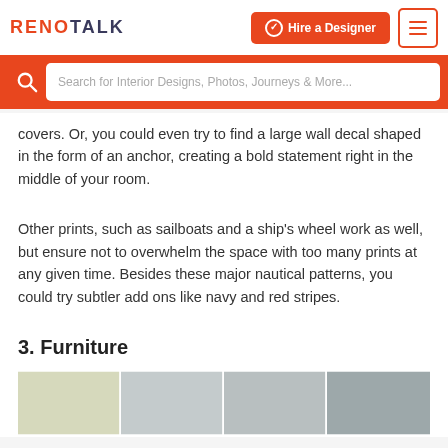RENOTALK | Hire a Designer | Menu
Search for Interior Designs, Photos, Journeys & More...
covers. Or, you could even try to find a large wall decal shaped in the form of an anchor, creating a bold statement right in the middle of your room.
Other prints, such as sailboats and a ship's wheel work as well, but ensure not to overwhelm the space with too many prints at any given time. Besides these major nautical patterns, you could try subtler add ons like navy and red stripes.
3. Furniture
[Figure (photo): Row of interior design photos showing furniture in a light nautical-themed room.]